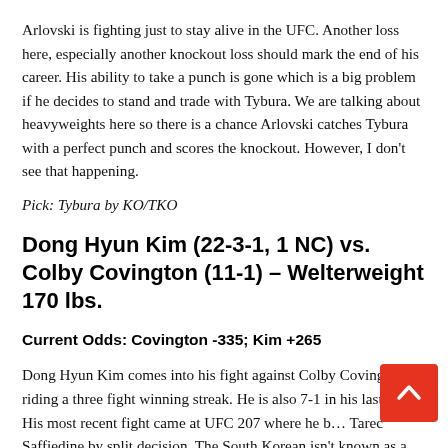Arlovski is fighting just to stay alive in the UFC. Another loss here, especially another knockout loss should mark the end of his career. His ability to take a punch is gone which is a big problem if he decides to stand and trade with Tybura. We are talking about heavyweights here so there is a chance Arlovski catches Tybura with a perfect punch and scores the knockout. However, I don't see that happening.
Pick: Tybura by KO/TKO
Dong Hyun Kim (22-3-1, 1 NC) vs. Colby Covington (11-1) – Welterweight 170 lbs.
Current Odds: Covington -335; Kim +265
Dong Hyun Kim comes into his fight against Colby Covington riding a three fight winning streak. He is also 7-1 in his last eight. His most recent fight came at UFC 207 where he b… Tarec Saffiedine by split decision. The South Korean isn't known as a finisher with only 50% of his wins coming via…